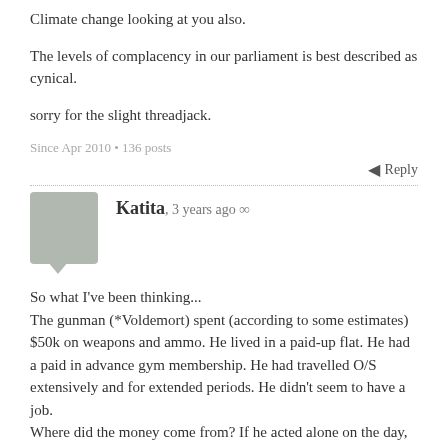Climate change looking at you also.
The levels of complacency in our parliament is best described as cynical.
sorry for the slight threadjack.
Since Apr 2010 • 136 posts
Reply
Katita, 3 years ago ∞
So what I've been thinking...
The gunman (*Voldemort) spent (according to some estimates) $50k on weapons and ammo. He lived in a paid-up flat. He had a paid in advance gym membership. He had travelled O/S extensively and for extended periods. He didn't seem to have a job.
Where did the money come from? If he acted alone on the day, was he self-funded?
Auckland • Since Nov 2006 • 67 posts
Reply